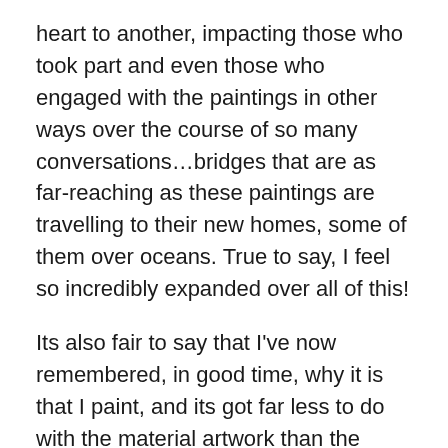heart to another, impacting those who took part and even those who engaged with the paintings in other ways over the course of so many conversations…bridges that are as far-reaching as these paintings are travelling to their new homes, some of them over oceans. True to say, I feel so incredibly expanded over all of this!
Its also fair to say that I've now remembered, in good time, why it is that I paint, and its got far less to do with the material artwork than the energetic layers that it contains. Another timely occurance in relation to all this is that, just as I was starting to feel called to do something about my stagnent output a couple of weeks ago, I was contacted out of the blue by Lee Harris, the globally aclaimed intuitive messenger and transformation leader. Lee purchase one of my paintings about five years ago and I